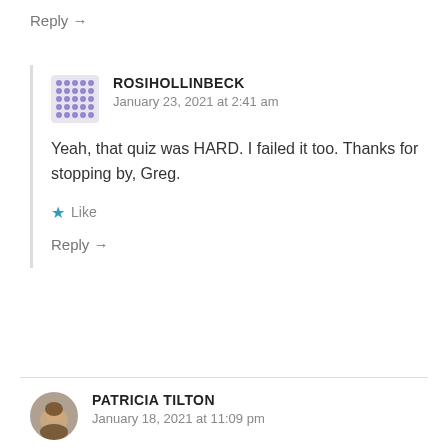Reply →
ROSIHOLLINBECK
January 23, 2021 at 2:41 am
Yeah, that quiz was HARD. I failed it too. Thanks for stopping by, Greg.
Like
Reply →
PATRICIA TILTON
January 18, 2021 at 11:09 pm